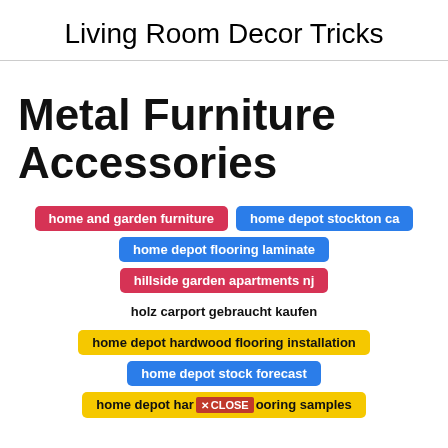Living Room Decor Tricks
Metal Furniture Accessories
home and garden furniture
home depot stockton ca
home depot flooring laminate
hillside garden apartments nj
holz carport gebraucht kaufen
home depot hardwood flooring installation
home depot stock forecast
home depot hardwood flooring samples